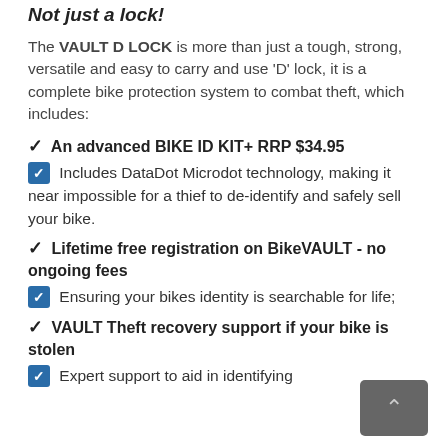Not just a lock!
The VAULT D LOCK is more than just a tough, strong, versatile and easy to carry and use 'D' lock, it is a complete bike protection system to combat theft, which includes:
✓ An advanced BIKE ID KIT+ RRP $34.95
☑ Includes DataDot Microdot technology, making it near impossible for a thief to de-identify and safely sell your bike.
✓ Lifetime free registration on BikeVAULT - no ongoing fees
☑ Ensuring your bikes identity is searchable for life;
✓ VAULT Theft recovery support if your bike is stolen
☑ Expert support to aid in identifying